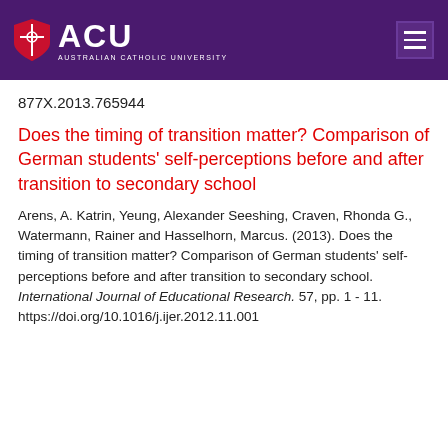ACU - Australian Catholic University
877X.2013.765944
Does the timing of transition matter? Comparison of German students' self-perceptions before and after transition to secondary school
Arens, A. Katrin, Yeung, Alexander Seeshing, Craven, Rhonda G., Watermann, Rainer and Hasselhorn, Marcus. (2013). Does the timing of transition matter? Comparison of German students' self-perceptions before and after transition to secondary school. International Journal of Educational Research. 57, pp. 1 - 11. https://doi.org/10.1016/j.ijer.2012.11.001